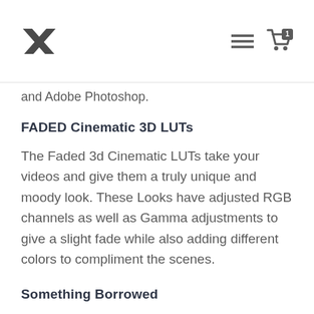[Logo: X mark icon, hamburger menu icon, shopping cart with badge '1']
and Adobe Photoshop.
FADED Cinematic 3D LUTs
The Faded 3d Cinematic LUTs take your videos and give them a truly unique and moody look. These Looks have adjusted RGB channels as well as Gamma adjustments to give a slight fade while also adding different colors to compliment the scenes.
Something Borrowed